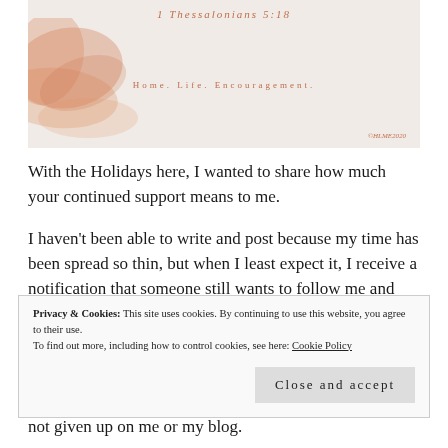[Figure (illustration): Blog banner image with watercolor orange/salmon brush strokes on the left side, text 'I Thessalonians 5:18' at top center, 'Home. Life. Encouragement.' in the middle, and '©HLME2020' at bottom right, on a light textured background.]
With the Holidays here, I wanted to share how much your continued support means to me.
I haven't been able to write and post because my time has been spread so thin, but when I least expect it, I receive a notification that someone still wants to follow me and
Privacy & Cookies: This site uses cookies. By continuing to use this website, you agree to their use.
To find out more, including how to control cookies, see here: Cookie Policy
Close and accept
not given up on me or my blog.